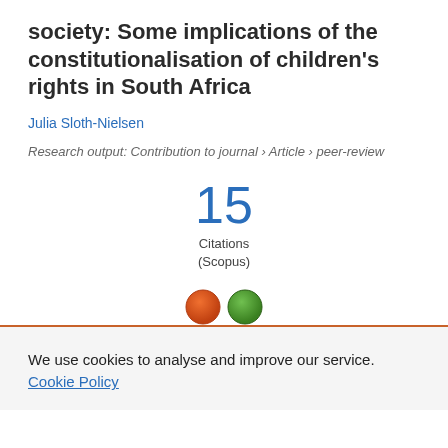society: Some implications of the constitutionalisation of children's rights in South Africa
Julia Sloth-Nielsen
Research output: Contribution to journal › Article › peer-review
15 Citations (Scopus)
[Figure (infographic): Two small circular badge icons (orange and green) partially visible at the bottom of the content area above the orange divider line.]
We use cookies to analyse and improve our service. Cookie Policy